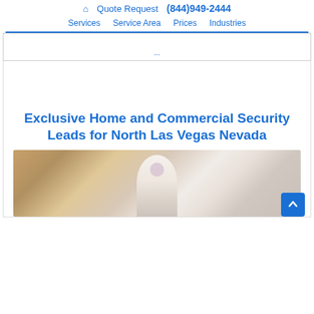🏠 Quote Request (844)949-2444 | Services | Service Area | Prices | Industries
[Figure (screenshot): Partially visible banner/advertisement strip at top of content area]
Exclusive Home and Commercial Security Leads for North Las Vegas Nevada
[Figure (photo): Photo of a person in a white shirt holding a security-related object, blurred background with bokeh]